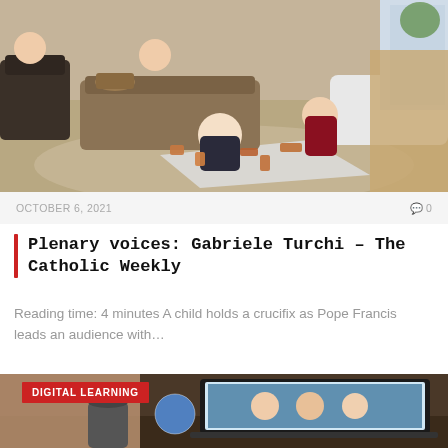[Figure (photo): Indoor family scene with children playing with wooden blocks on a carpeted floor, adults sitting in background, couch and furniture visible.]
OCTOBER 6, 2021
0
Plenary voices: Gabriele Turchi – The Catholic Weekly
Reading time: 4 minutesA child holds a crucifix as Pope Francis leads an audience with…
[Figure (photo): Digital learning scene showing a laptop with children on screen, a globe, and a coffee cup on a desk, with a person blurred in foreground.]
DIGITAL LEARNING